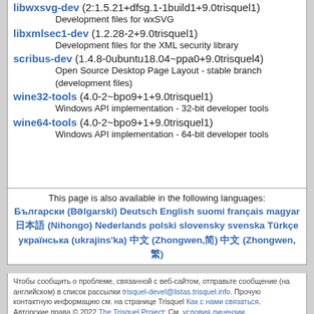libwxsvg-dev (2:1.5.21+dfsg.1-1build1+9.0trisquel1)
    Development files for wxSVG
libxmlsec1-dev (1.2.28-2+9.0trisquel1)
    Development files for the XML security library
scribus-dev (1.4.8-0ubuntu18.04~ppa0+9.0trisquel4)
    Open Source Desktop Page Layout - stable branch (development files)
wine32-tools (4.0-2~bpo9+1+9.0trisquel1)
    Windows API implementation - 32-bit developer tools
wine64-tools (4.0-2~bpo9+1+9.0trisquel1)
    Windows API implementation - 64-bit developer tools
This page is also available in the following languages:
Български (Bəlgarski) Deutsch English suomi français magyar 日本語 (Nihongo) Nederlands polski slovensky svenska Türkçe українська (ukrajins'ka) 中文 (Zhongwen,简) 中文 (Zhongwen,繁)
Чтобы сообщить о проблеме, связанной с веб-сайтом, отправьте сообщение (на английском) в список рассылки trisquel-devel@listas.trisquel.info. Прочую контактную информацию см. на странице Trisquel Как с нами связаться.
Авторские права © 2022 The Trisquel Project; См. условия лицензии.
Trisquel это торговый знак компании The Trisquel Project Об этом сайте.